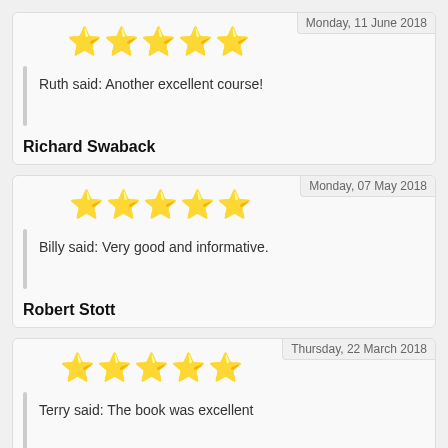[Figure (other): 5-star rating with date: Monday, 11 June 2018]
Ruth said: Another excellent course!
Richard Swaback
[Figure (other): 5-star rating with date: Monday, 07 May 2018]
Billy said: Very good and informative.
Robert Stott
[Figure (other): 5-star rating with date: Thursday, 22 March 2018]
Terry said: The book was excellent